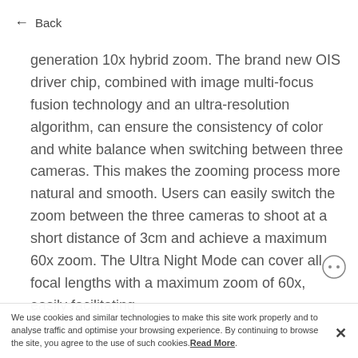← Back
generation 10x hybrid zoom. The brand new OIS driver chip, combined with image multi-focus fusion technology and an ultra-resolution algorithm, can ensure the consistency of color and white balance when switching between three cameras. This makes the zooming process more natural and smooth. Users can easily switch the zoom between the three cameras to shoot at a short distance of 3cm and achieve a maximum 60x zoom. The Ultra Night Mode can cover all focal lengths with a maximum zoom of 60x, easily facilitating
We use cookies and similar technologies to make this site work properly and to analyse traffic and optimise your browsing experience. By continuing to browse the site, you agree to the use of such cookies. Read More.